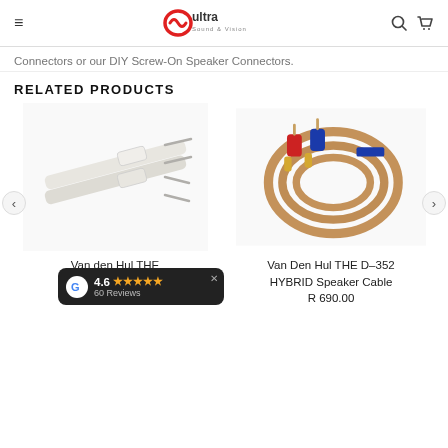Ultra Sound & Vision - navigation header with logo, search and cart icons
Connectors or our DIY Screw-On Speaker Connectors.
RELATED PRODUCTS
[Figure (photo): White flat speaker cable with bare wire ends and white rectangular connectors]
[Figure (photo): Coiled brown flat speaker cable with gold banana plugs, red and blue connector caps]
Van den Hul THE CLEARWA... R...
Van Den Hul THE D–352 HYBRID Speaker Cable R 690.00
[Figure (other): Google review badge showing 4.6 stars and 60 Reviews]